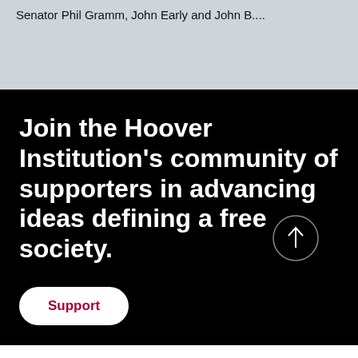Senator Phil Gramm, John Early and John B....
Join the Hoover Institution's community of supporters in advancing ideas defining a free society.
Support